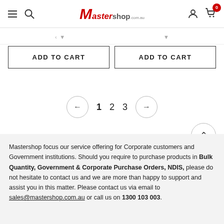Mastershop
[Figure (screenshot): Two ADD TO CART buttons side by side]
[Figure (screenshot): Pagination control showing left arrow, 1, 2, 3, right arrow]
Mastershop focus our service offering for Corporate customers and Government institutions. Should you require to purchase products in Bulk Quantity, Government & Corporate Purchase Orders, NDIS, please do not hesitate to contact us and we are more than happy to support and assist you in this matter. Please contact us via email to sales@mastershop.com.au or call us on 1300 103 003.